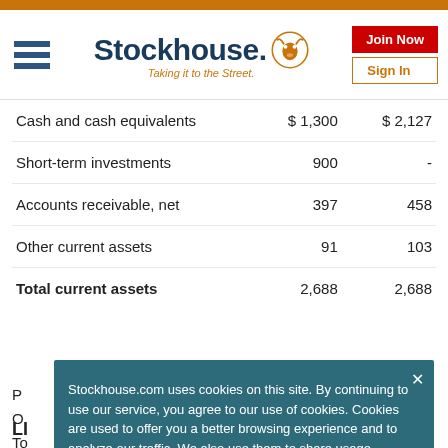[Figure (logo): Stockhouse logo with bull icon and tagline 'Taking it to the Street.']
|  | Col1 | Col2 |
| --- | --- | --- |
| Cash and cash equivalents | $ 1,300 | $ 2,127 |
| Short-term investments | 900 | - |
| Accounts receivable, net | 397 | 458 |
| Other current assets | 91 | 103 |
| Total current assets | 2,688 | 2,688 |
Stockhouse.com uses cookies on this site. By continuing to use our service, you agree to our use of cookies. Cookies are used to offer you a better browsing experience and to analyze our traffic. We also use them to share usage information with our partners. See full details.